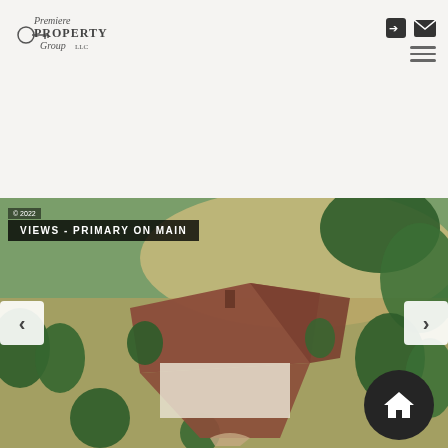[Figure (logo): Premiere Property Group LLC logo with key icon]
[Figure (photo): Aerial photo of a ranch-style home with brown roof surrounded by trees and open fields with label VIEWS - PRIMARY ON MAIN and copyright 2022]
© 2022
VIEWS - PRIMARY ON MAIN